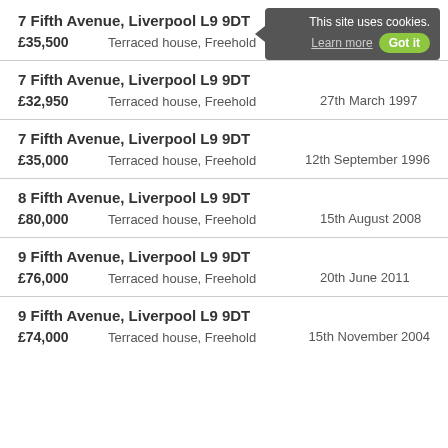7 Fifth Avenue, Liverpool L9 9DT — £35,500 — Terraced house, Freehold
7 Fifth Avenue, Liverpool L9 9DT — £32,950 — Terraced house, Freehold — 27th March 1997
7 Fifth Avenue, Liverpool L9 9DT — £35,000 — Terraced house, Freehold — 12th September 1996
8 Fifth Avenue, Liverpool L9 9DT — £80,000 — Terraced house, Freehold — 15th August 2008
9 Fifth Avenue, Liverpool L9 9DT — £76,000 — Terraced house, Freehold — 20th June 2011
9 Fifth Avenue, Liverpool L9 9DT — £74,000 — Terraced house, Freehold — 15th November 2004